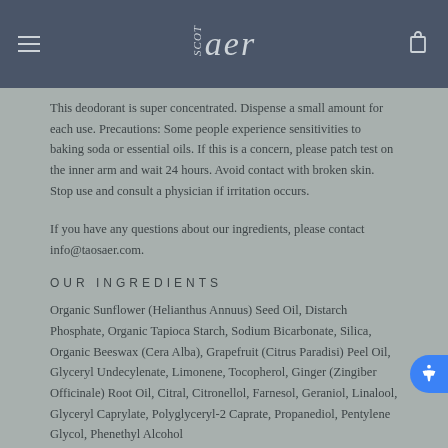aer
This deodorant is super concentrated. Dispense a small amount for each use. Precautions: Some people experience sensitivities to baking soda or essential oils. If this is a concern, please patch test on the inner arm and wait 24 hours. Avoid contact with broken skin. Stop use and consult a physician if irritation occurs.
If you have any questions about our ingredients, please contact info@taosaer.com.
OUR INGREDIENTS
Organic Sunflower (Helianthus Annuus) Seed Oil, Distarch Phosphate, Organic Tapioca Starch, Sodium Bicarbonate, Silica, Organic Beeswax (Cera Alba), Grapefruit (Citrus Paradisi) Peel Oil, Glyceryl Undecylenate, Limonene, Tocopherol, Ginger (Zingiber Officinale) Root Oil, Citral, Citronellol, Farnesol, Geraniol, Linalool, Glyceryl Caprylate, Polyglyceryl-2 Caprate, Propanediol, Pentylene Glycol, Phenethyl Alcohol